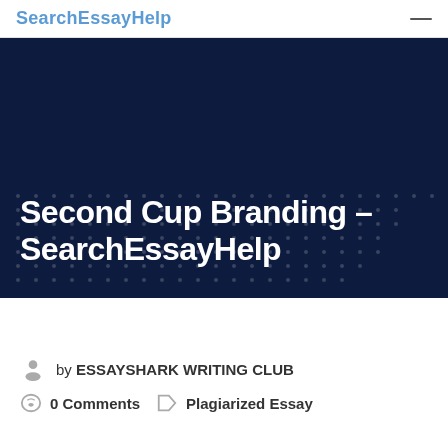SearchEssayHelp
Second Cup Branding - SearchEssayHelp
by ESSAYSHARK WRITING CLUB
0 Comments   Plagiarized Essay